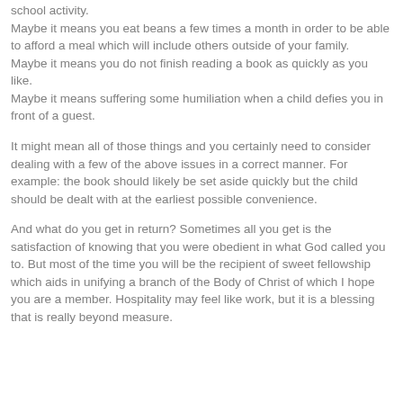school activity.
Maybe it means you eat beans a few times a month in order to be able to afford a meal which will include others outside of your family.
Maybe it means you do not finish reading a book as quickly as you like.
Maybe it means suffering some humiliation when a child defies you in front of a guest.
It might mean all of those things and you certainly need to consider dealing with a few of the above issues in a correct manner. For example: the book should likely be set aside quickly but the child should be dealt with at the earliest possible convenience.
And what do you get in return? Sometimes all you get is the satisfaction of knowing that you were obedient in what God called you to. But most of the time you will be the recipient of sweet fellowship which aids in unifying a branch of the Body of Christ of which I hope you are a member. Hospitality may feel like work, but it is a blessing that is really beyond measure.